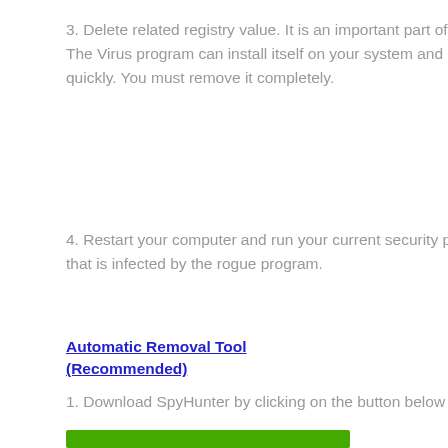3. Delete related registry value. It is an important part of removing the virus. The Virus program can install itself on your system and infect system files quickly. You must remove it completely.
4. Restart your computer and run your current security program to clean files that is infected by the rogue program.
Automatic Removal Tool (Recommended)
1. Download SpyHunter by clicking on the button below
[Figure (other): Green download button bar at bottom of page]